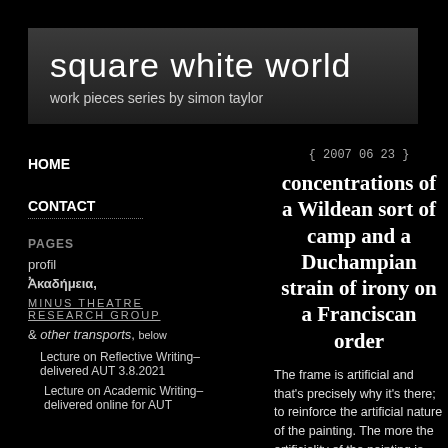square white world
work pieces series by simon taylor
HOME
CONTACT
PAGES
profil
Ἀκαδήμεια,
MINUS THEATRE RESEARCH GROUP
& other transports, below
Lecture on Reflective Writing– delivered AUT 3.8.2021
Lecture on Academic Writing– delivered online for AUT
{ 2007 06 23 }
concentrations of a Wildean sort of camp and a Duchampian strain of irony on a Franciscan order
The frame is artificial and that's precisely why it's there; to reinforce the artificial nature of the painting. The more the artificiality of the painting is apparent, the better, and the more chance the